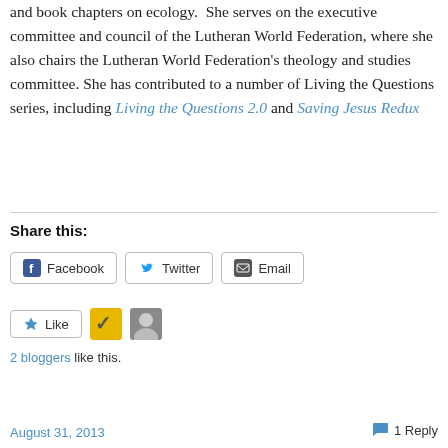and book chapters on ecology.  She serves on the executive committee and council of the Lutheran World Federation, where she also chairs the Lutheran World Federation's theology and studies committee. She has contributed to a number of Living the Questions series, including Living the Questions 2.0 and Saving Jesus Redux
Share this:
[Figure (other): Social share buttons: Facebook, Twitter, Email]
[Figure (other): Like button with 2 blogger avatars]
2 bloggers like this.
August 31, 2013    1 Reply